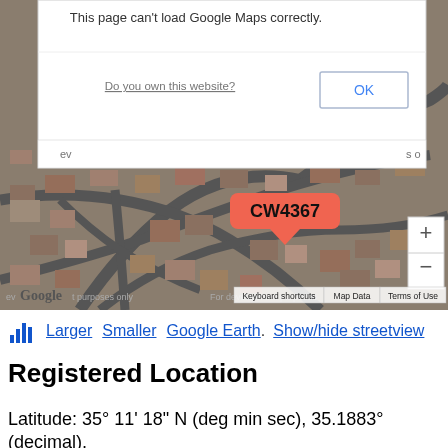[Figure (screenshot): Google Maps screenshot showing satellite view of a residential area with a red label marker 'CW4367'. An error dialog overlays the top of the map stating 'This page can't load Google Maps correctly.' with a 'Do you own this website?' link and an 'OK' button. Map controls include zoom in/out buttons. Bottom bar shows 'Keyboard shortcuts', 'Map Data', 'Terms of Use'.]
Larger  Smaller  Google Earth. Show/hide streetview
Registered Location
Latitude: 35° 11' 18" N (deg min sec), 35.1883° (decimal),